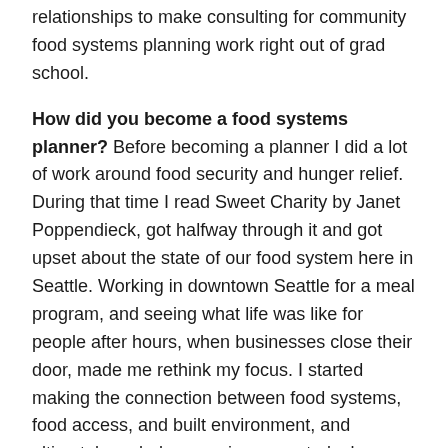relationships to make consulting for community food systems planning work right out of grad school.
How did you become a food systems planner? Before becoming a planner I did a lot of work around food security and hunger relief. During that time I read Sweet Charity by Janet Poppendieck, got halfway through it and got upset about the state of our food system here in Seattle. Working in downtown Seattle for a meal program, and seeing what life was like for people after hours, when businesses close their door, made me rethink my focus. I started making the connection between food systems, food access, and built environment, and ultimately ended up pursing a master's degree in planning at the University of Washington's College of the Built Environment, where I focused all my energy on food systems planning work.
What do you enjoy about your work? The range of